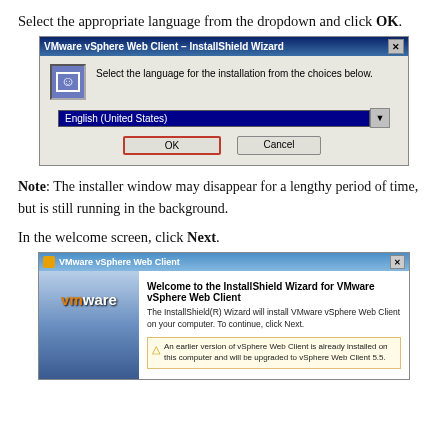Select the appropriate language from the dropdown and click OK.
[Figure (screenshot): VMware vSphere Web Client InstallShield Wizard language selection dialog with English (United States) selected and OK button circled in red]
Note: The installer window may disappear for a lengthy period of time, but is still running in the background.
In the welcome screen, click Next.
[Figure (screenshot): VMware vSphere Web Client InstallShield Wizard welcome screen with VMware logo on left and welcome text on right]